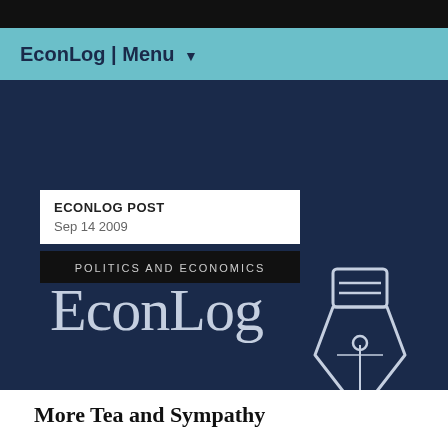EconLog | Menu
[Figure (logo): EconLog website screenshot header with navy background, 'ECONLOG POST Sep 14 2009' label box, 'POLITICS AND ECONOMICS' category bar, large 'EconLog' serif text in light blue-gray, and a pen nib icon in outline style on the right]
More Tea and Sympathy